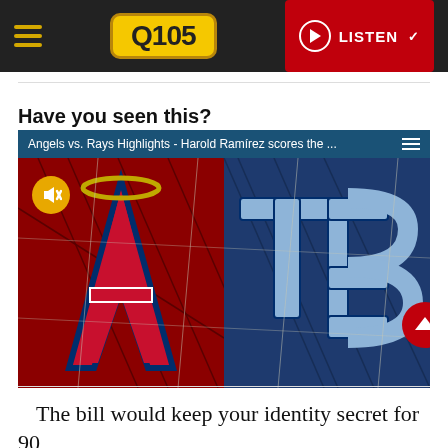Q105 — LISTEN
Have you seen this?
[Figure (screenshot): Video thumbnail showing Angels vs. Rays Highlights - Harold Ramírez scores the ... with a mute button and a red scroll-to-top button overlay. The image shows the Los Angeles Angels 'A' logo on a red background and the Tampa Bay Rays 'TB' logo on a blue background side by side.]
The bill would keep your identity secret for 90